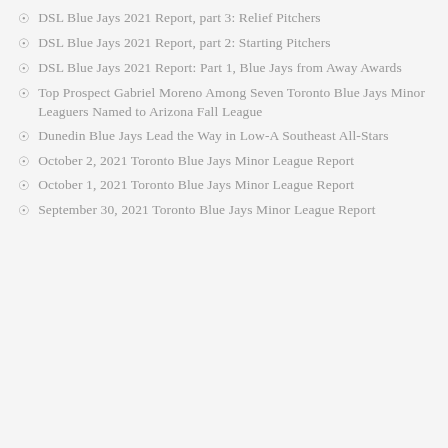DSL Blue Jays 2021 Report, part 3: Relief Pitchers
DSL Blue Jays 2021 Report, part 2: Starting Pitchers
DSL Blue Jays 2021 Report: Part 1, Blue Jays from Away Awards
Top Prospect Gabriel Moreno Among Seven Toronto Blue Jays Minor Leaguers Named to Arizona Fall League
Dunedin Blue Jays Lead the Way in Low-A Southeast All-Stars
October 2, 2021 Toronto Blue Jays Minor League Report
October 1, 2021 Toronto Blue Jays Minor League Report
September 30, 2021 Toronto Blue Jays Minor League Report